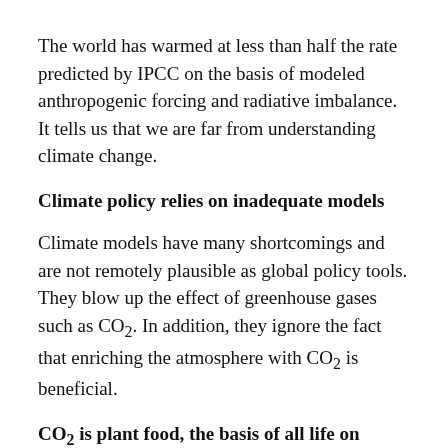The world has warmed at less than half the rate predicted by IPCC on the basis of modeled anthropogenic forcing and radiative imbalance. It tells us that we are far from understanding climate change.
Climate policy relies on inadequate models
Climate models have many shortcomings and are not remotely plausible as global policy tools. They blow up the effect of greenhouse gases such as CO₂. In addition, they ignore the fact that enriching the atmosphere with CO₂ is beneficial.
CO₂ is plant food, the basis of all life on Earth
CO₂ is not a pollutant. It is essential to all life on Earth. Photosynthesis is a blessing. More CO₂ is